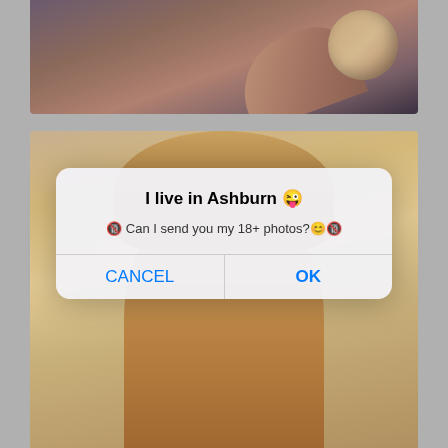[Figure (photo): Top portion of a photo showing a reclining figure with blonde hair against dark fabric background]
[Figure (photo): Photo of a blonde woman wearing a shell/stone necklace, looking down, with a semi-transparent iOS-style dialog box overlaid on top]
I live in Ashburn 😜
🔞 Can I send you my 18+ photos?😊🔞
CANCEL
OK